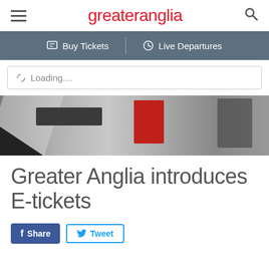greateranglia — navigation header with hamburger menu and search icon
Buy Tickets | Live Departures
Loading....
[Figure (photo): Blurred photo of a railway/transport environment with dark equipment and a red panel visible]
Greater Anglia introduces E-tickets
Share  Tweet